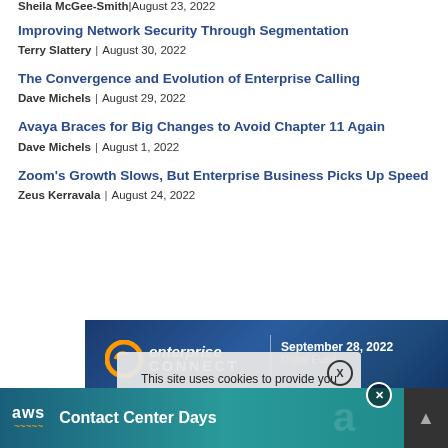Sheila McGee-Smith | August 23, 2022
Improving Network Security Through Segmentation
Terry Slattery | August 30, 2022
The Convergence and Evolution of Enterprise Calling
Dave Michels | August 29, 2022
Avaya Braces for Big Changes to Avoid Chapter 11 Again
Dave Michels | August 1, 2022
Zoom's Growth Slows, But Enterprise Business Picks Up Speed
Zeus Kerravala | August 24, 2022
[Figure (screenshot): Enterprise Connect banner ad: dark blue background with orange swirl logo, text 'enterprise CONNECT | September 28, 2022 Digital Event'. Overlaid cookie consent popup: 'This site uses cookies to provide you with the best user experience possible. By' with X close button. Bottom ad bar: AWS Contact Center Days with teal gradient.]